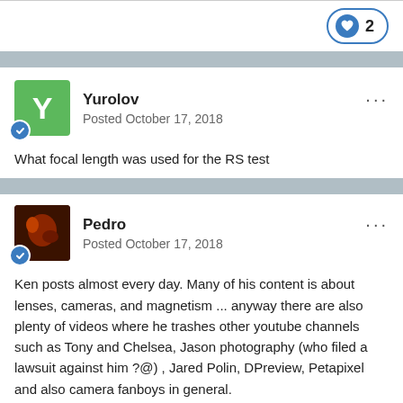[Figure (other): Like button with heart icon and count of 2]
[Figure (other): Yurolov user avatar - green square with Y letter and verified badge]
Yurolov
Posted October 17, 2018
What focal length was used for the RS test
[Figure (photo): Pedro user avatar - dark reddish photo with verified badge]
Pedro
Posted October 17, 2018
Ken posts almost every day. Many of his content is about lenses, cameras, and magnetism ... anyway there are also plenty of videos where he trashes other youtube channels such as Tony and Chelsea, Jason photography (who filed a lawsuit against him ?@) , Jared Polin, DPreview, Petapixel and also camera fanboys in general.